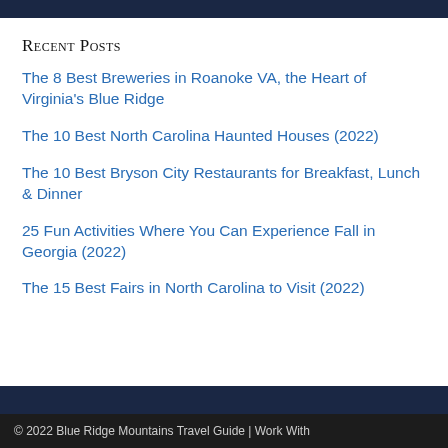Recent Posts
The 8 Best Breweries in Roanoke VA, the Heart of Virginia's Blue Ridge
The 10 Best North Carolina Haunted Houses (2022)
The 10 Best Bryson City Restaurants for Breakfast, Lunch & Dinner
25 Fun Activities Where You Can Experience Fall in Georgia (2022)
The 15 Best Fairs in North Carolina to Visit (2022)
© 2022 Blue Ridge Mountains Travel Guide | Work With